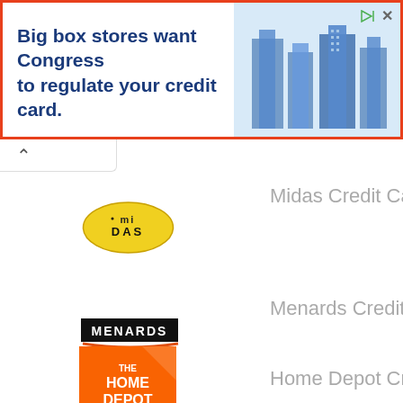[Figure (screenshot): Advertisement banner: 'Big box stores want Congress to regulate your credit card.' with building illustration in blue tones]
Midas Credit Card
[Figure (logo): Midas logo - yellow oval with MIDAS text]
Menards Credit Card
[Figure (logo): Menards logo - black rectangle with white MENARDS text and orange underline]
Home Depot Credit Card
[Figure (logo): The Home Depot logo - orange square with white THE HOME DEPOT text]